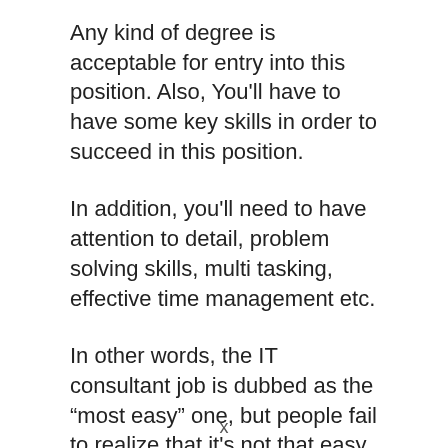Any kind of degree is acceptable for entry into this position. Also, You'll have to have some key skills in order to succeed in this position.
In addition, you'll need to have attention to detail, problem solving skills, multi tasking, effective time management etc.
In other words, the IT consultant job is dubbed as the “most easy” one, but people fail to realize that it’s not that easy.
x